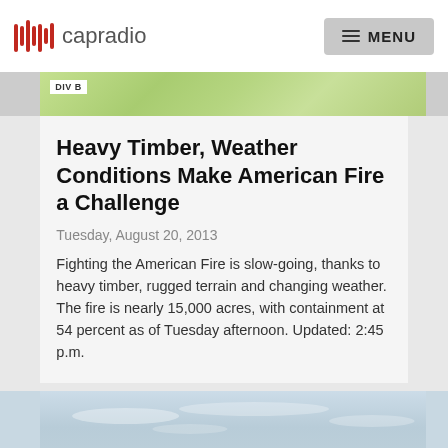capradio | MENU
[Figure (map): Topographic map strip showing DIV B label on green terrain map]
Heavy Timber, Weather Conditions Make American Fire a Challenge
Tuesday, August 20, 2013
Fighting the American Fire is slow-going, thanks to heavy timber, rugged terrain and changing weather. The fire is nearly 15,000 acres, with containment at 54 percent as of Tuesday afternoon. Updated: 2:45 p.m.
[Figure (photo): Hazy sky with light clouds, likely smoke-affected sky from the American Fire area]